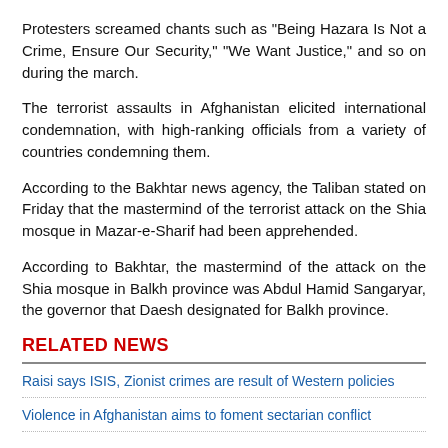Protesters screamed chants such as "Being Hazara Is Not a Crime, Ensure Our Security," "We Want Justice," and so on during the march.
The terrorist assaults in Afghanistan elicited international condemnation, with high-ranking officials from a variety of countries condemning them.
According to the Bakhtar news agency, the Taliban stated on Friday that the mastermind of the terrorist attack on the Shia mosque in Mazar-e-Sharif had been apprehended.
According to Bakhtar, the mastermind of the attack on the Shia mosque in Balkh province was Abdul Hamid Sangaryar, the governor that Daesh designated for Balkh province.
RELATED NEWS
Raisi says ISIS, Zionist crimes are result of Western policies
Violence in Afghanistan aims to foment sectarian conflict